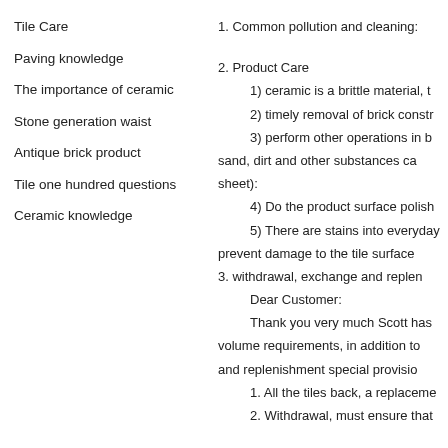Tile Care
Paving knowledge
The importance of ceramic
Stone generation waist
Antique brick product
Tile one hundred questions
Ceramic knowledge
1. Common pollution and cleaning:
2. Product Care
1) ceramic is a brittle material, t
2) timely removal of brick constr
3) perform other operations in b
sand, dirt and other substances ca
sheet):
4) Do the product surface polish
5) There are stains into everyday
prevent damage to the tile surface
3. withdrawal, exchange and replen
Dear Customer:
Thank you very much Scott has
volume requirements, in addition to
and replenishment special provisio
1. All the tiles back, a replaceme
2. Withdrawal, must ensure that